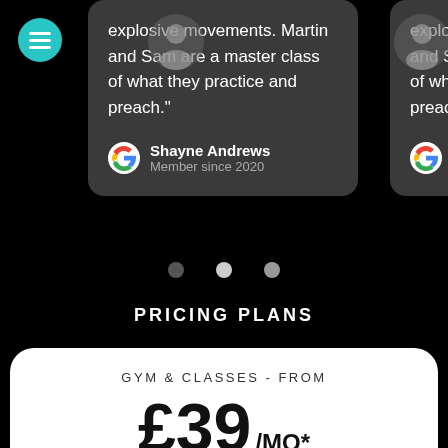[Figure (screenshot): Hamburger menu button - teal circular button with three horizontal lines icon]
explosive movements. Martin and Sam are a master class of what they practice and preach."
Shayne Andrews
Member since 2020
explosive Martin and Sam a master class o they practice and preach."
Sha
Men
[Figure (infographic): Three navigation dots - dark, light grey, and medium grey circles indicating carousel position]
PRICING PLANS
GYM & CLASSES - FROM
£39 /MO*